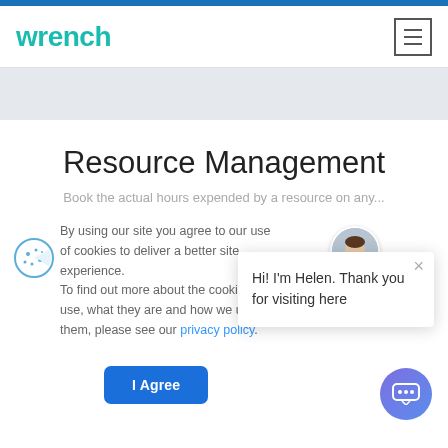wrench
[Figure (screenshot): Gray hero banner area below header]
Resource Management
Book the actual hours expended by a resource on any...
By using our site you agree to our use of cookies to deliver a better site experience.
To find out more about the cookies we use, what they are and how we use them, please see our privacy policy.
I Agree
Hi! I'm Helen. Thank you for visiting here